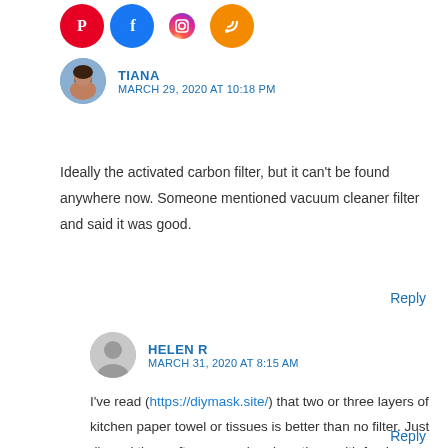[Figure (illustration): Row of social media icons: Pinterest (red), Facebook (blue), Instagram (purple/gradient), RSS (orange)]
[Figure (photo): Tiana avatar photo with dark hair]
TIANA
MARCH 29, 2020 AT 10:18 PM
Ideally the activated carbon filter, but it can't be found anywhere now. Someone mentioned vacuum cleaner filter and said it was good.
Reply
[Figure (illustration): Helen R generic avatar (grey silhouette)]
HELEN R
MARCH 31, 2020 AT 8:15 AM
I've read (https://diymask.site/) that two or three layers of kitchen paper towel or tissues is better than no filter. Just discard them after use and replace them with fresh ones every time. Great pattern, Tiana – thanks so much!
Reply